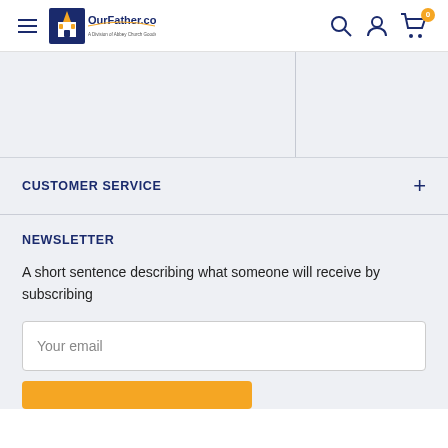OurFather.com navigation header with hamburger menu, logo, search, account, and cart icons
[Figure (other): Gray placeholder content area with a vertical divider line]
CUSTOMER SERVICE
NEWSLETTER
A short sentence describing what someone will receive by subscribing
Your email